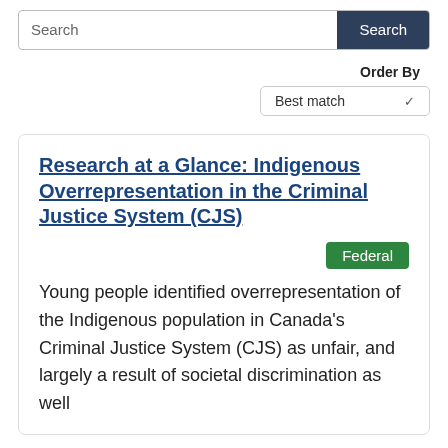Search | Search
Order By
Best match
Research at a Glance: Indigenous Overrepresentation in the Criminal Justice System (CJS)
Federal
Young people identified overrepresentation of the Indigenous population in Canada's Criminal Justice System (CJS) as unfair, and largely a result of societal discrimination as well